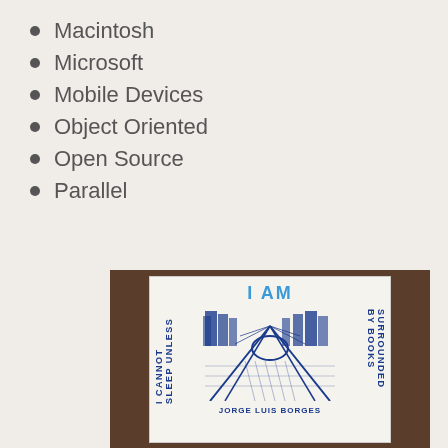Macintosh
Microsoft
Mobile Devices
Object Oriented
Open Source
Parallel
[Figure (photo): A photograph of a book poster/print with blue ink on white background. Top reads 'I AM' in cyan/blue letters. Left side reads 'I CANNOT SLEEP UNLESS' vertically. Right side reads 'SURROUNDED BY BOOKS' vertically. Center has a woodcut-style illustration of a bridge/cityscape perspective. Bottom partially shows 'JORGE LUIS BORGES'.]